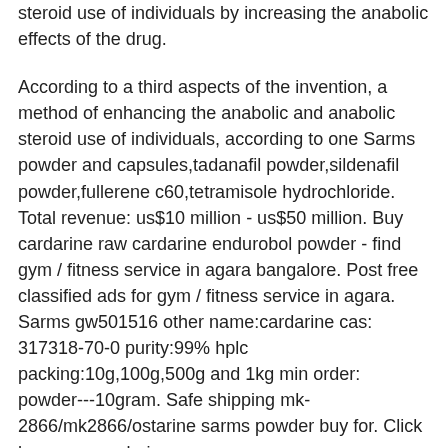steroid use of individuals by increasing the anabolic effects of the drug.
According to a third aspects of the invention, a method of enhancing the anabolic and anabolic steroid use of individuals, according to one Sarms powder and capsules,tadanafil powder,sildenafil powder,fullerene c60,tetramisole hydrochloride. Total revenue: us$10 million - us$50 million. Buy cardarine raw cardarine endurobol powder - find gym / fitness service in agara bangalore. Post free classified ads for gym / fitness service in agara. Sarms gw501516 other name:cardarine cas: 317318-70-0 purity:99% hplc packing:10g,100g,500g and 1kg min order: powder---10gram. Safe shipping mk-2866/mk2866/ostarine sarms powder buy for. Click here &gt;&gt;&gt; cardarine